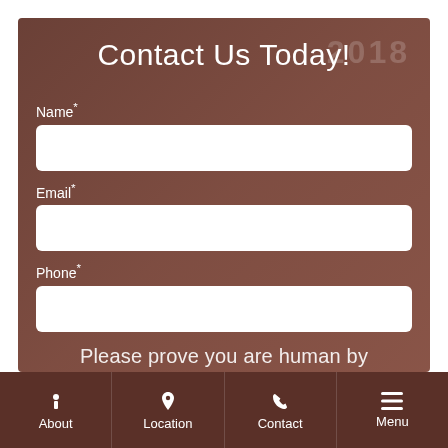Contact Us Today!
Name*
Email*
Phone*
Please prove you are human by
About  Location  Contact  Menu